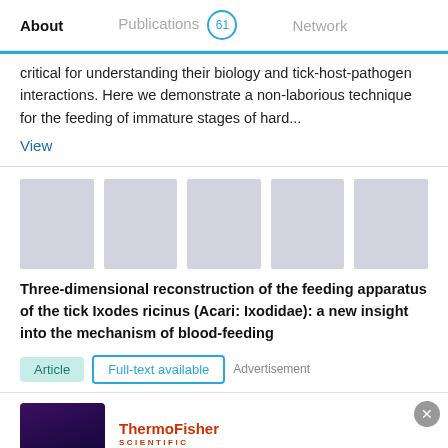About   Publications 61   Network
critical for understanding their biology and tick-host-pathogen interactions. Here we demonstrate a non-laborious technique for the feeding of immature stages of hard...
View
[Figure (photo): Five gray placeholder image thumbnails in a horizontal strip]
Three-dimensional reconstruction of the feeding apparatus of the tick Ixodes ricinus (Acari: Ixodidae): a new insight into the mechanism of blood-feeding
Article   Full-text available   Advertisement
[Figure (infographic): ThermoFisher Scientific advertisement with Gene Synthesis Handbook title and a dark purple background image on the left]